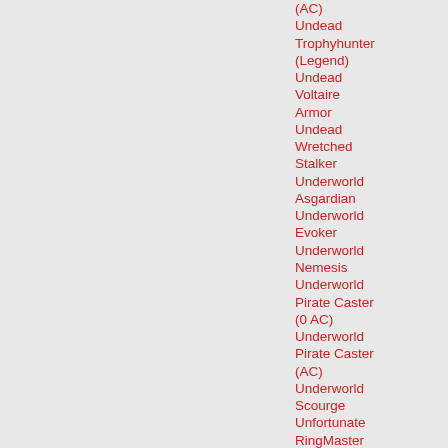(AC)
Undead Trophyhunter (Legend)
Undead Voltaire Armor
Undead Wretched Stalker
Underworld Asgardian
Underworld Evoker
Underworld Nemesis
Underworld Pirate Caster (0 AC)
Underworld Pirate Caster (AC)
Underworld Scourge
Unfortunate RingMaster
Unlucky Ringmaster
Unsuccessful Scientist Helm